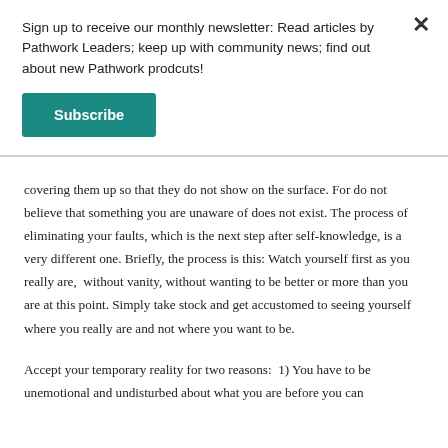Sign up to receive our monthly newsletter: Read articles by Pathwork Leaders; keep up with community news; find out about new Pathwork prodcuts!
Subscribe
covering them up so that they do not show on the surface. For do not believe that something you are unaware of does not exist. The process of eliminating your faults, which is the next step after self-knowledge, is a very different one. Briefly, the process is this: Watch yourself first as you really are,  without vanity, without wanting to be better or more than you are at this point. Simply take stock and get accustomed to seeing yourself where you really are and not where you want to be.
Accept your temporary reality for two reasons:  1) You have to be unemotional and undisturbed about what you are before you can change yourself. This creates the possibility for true self-